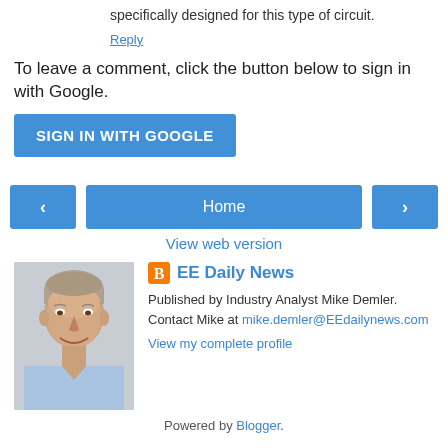specifically designed for this type of circuit.
Reply
To leave a comment, click the button below to sign in with Google.
SIGN IN WITH GOOGLE
< Home >
View web version
[Figure (photo): Portrait photo of a middle-aged man smiling, wearing a light blue shirt]
EE Daily News
Published by Industry Analyst Mike Demler. Contact Mike at mike.demler@EEdailynews.com
View my complete profile
Powered by Blogger.